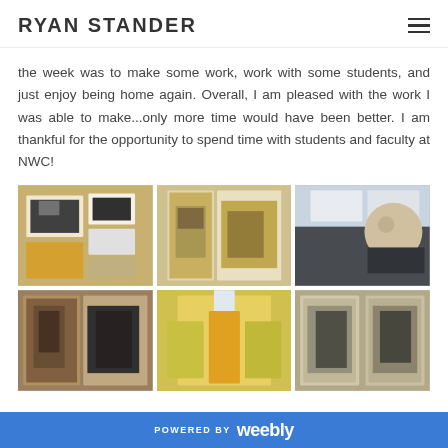RYAN STANDER
the week was to make some work, work with some students, and just enjoy being home again. Overall, I am pleased with the work I was able to make...only more time would have been better. I am thankful for the opportunity to spend time with students and faculty at NWC!
[Figure (photo): Six photos arranged in a 3x2 grid showing artwork prints on a table, open book artwork, a man smiling in a print studio, printmaking artworks on wood panels, an empty studio workspace, and black-and-white portrait prints.]
POWERED BY weebly